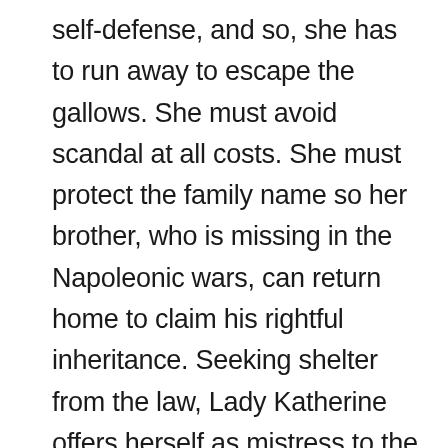self-defense, and so, she has to run away to escape the gallows. She must avoid scandal at all costs. She must protect the family name so her brother, who is missing in the Napoleonic wars, can return home to claim his rightful inheritance. Seeking shelter from the law, Lady Katherine offers herself as mistress to the enigmatic Duke of Rye, a national hero. She plans to leave the country the moment her brother is back on English soil. The duke, himself traumatized by the war, takes her as his mistress, thinking she is an imposter or an actress. But, as he comes to appreciate her noble qualities and her courage, he cannot help falling in love with her in spite of the difference in their station. Meanwhile,